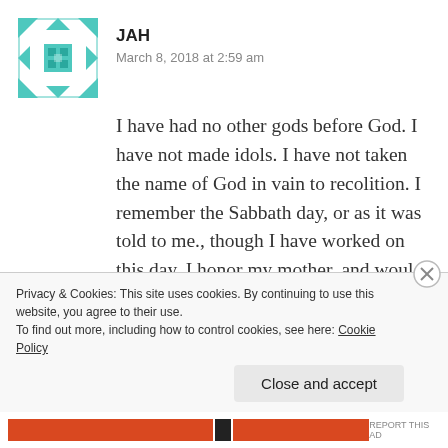[Figure (illustration): Teal/cyan geometric quilt-pattern avatar icon]
JAH
March 8, 2018 at 2:59 am
I have had no other gods before God. I have not made idols. I have not taken the name of God in vain to recolition. I remember the Sabbath day, or as it was told to me., though I have worked on this day. I honor my mother, and would my father if I had chance. I have not murdered. I have not commited adultry, though accidentally in the mind from ignorance that they were involved. I
Privacy & Cookies: This site uses cookies. By continuing to use this website, you agree to their use.
To find out more, including how to control cookies, see here: Cookie Policy
Close and accept